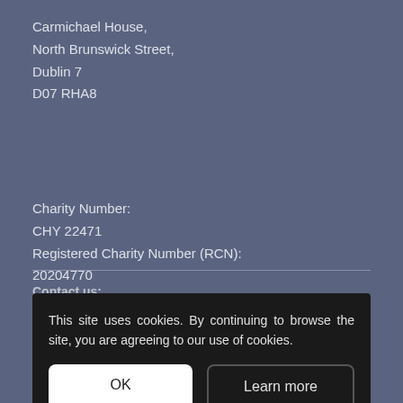Carmichael House,
North Brunswick Street,
Dublin 7
D07 RHA8
Charity Number:
CHY 22471
Registered Charity Number (RCN):
20204770
Contact us:
Tel: (01)...
Email: info@...
This site uses cookies. By continuing to browse the site, you are agreeing to our use of cookies.
OK
Learn more